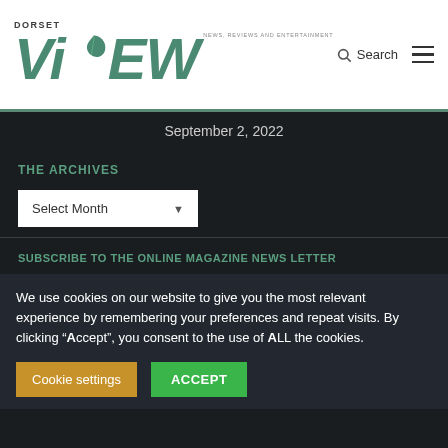DORSET ViEW – NEWS, REVIEWS AND ENTERTAINMENT
September 2, 2022
THE ARCHIVES
Select Month
SUBSCRIBE TO THE ONLINE MAGAZINE NEWS LETTER
We use cookies on our website to give you the most relevant experience by remembering your preferences and repeat visits. By clicking "Accept", you consent to the use of ALL the cookies.
Cookie settings   ACCEPT